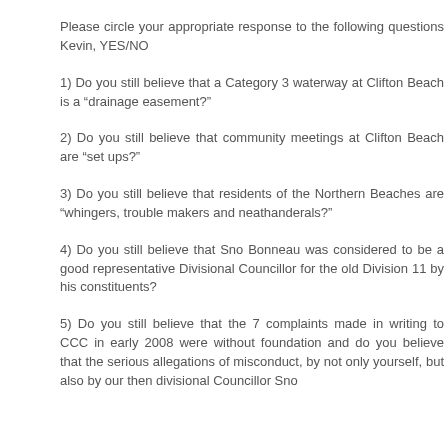Please circle your appropriate response to the following questions Kevin, YES/NO
1) Do you still believe that a Category 3 waterway at Clifton Beach is a “drainage easement?”
2) Do you still believe that community meetings at Clifton Beach are “set ups?”
3) Do you still believe that residents of the Northern Beaches are “whingers, trouble makers and neathanderals?”
4) Do you still believe that Sno Bonneau was considered to be a good representative Divisional Councillor for the old Division 11 by his constituents?
5) Do you still believe that the 7 complaints made in writing to CCC in early 2008 were without foundation and do you believe that the serious allegations of misconduct, by not only yourself, but also by our then divisional Councillor Sno